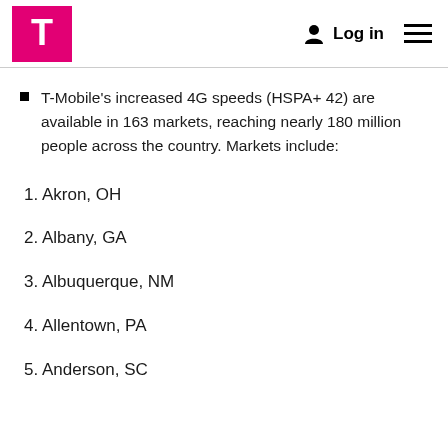T-Mobile logo | Log in | Menu
T-Mobile's increased 4G speeds (HSPA+ 42) are available in 163 markets, reaching nearly 180 million people across the country. Markets include:
1. Akron, OH
2. Albany, GA
3. Albuquerque, NM
4. Allentown, PA
5. Anderson, SC